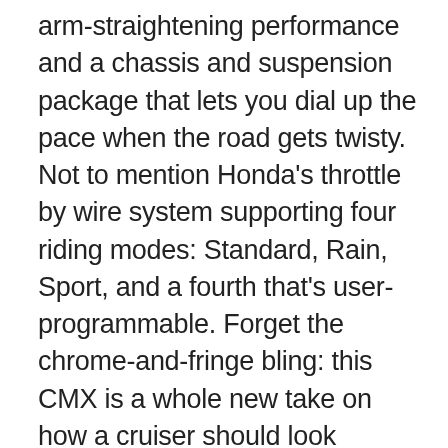arm-straightening performance and a chassis and suspension package that lets you dial up the pace when the road gets twisty. Not to mention Honda's throttle by wire system supporting four riding modes: Standard, Rain, Sport, and a fourth that's user-programmable. Forget the chrome-and-fringe bling: this CMX is a whole new take on how a cruiser should look equipped with our anti-lock brake system and cruise control and Unicam® engine. As for performance, it's unquestionable, and we didn't fall into the trap of just making it look like grandpa's